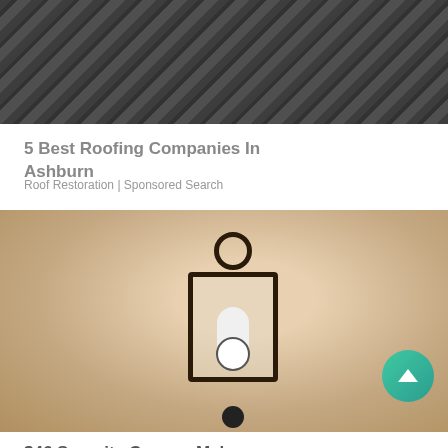[Figure (photo): Damaged roofing shingles scattered and lifted, dark gray asphalt shingles on a roof]
5 Best Roofing Companies In Ashburn
Roof Restoration | Sponsored Search
[Figure (photo): Security camera shaped like a light bulb installed inside an outdoor wall lantern fixture mounted on a stucco wall]
$46 Security Camera Makes Doorbell Cams Seem Ancient